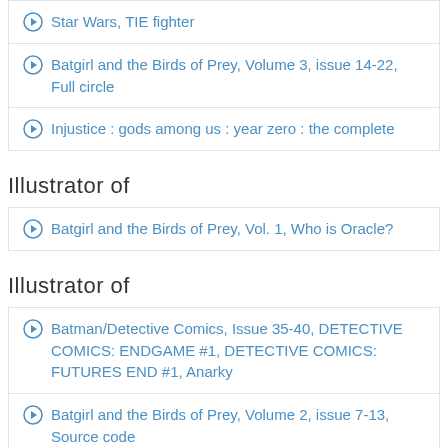Star Wars, TIE fighter
Batgirl and the Birds of Prey, Volume 3, issue 14-22, Full circle
Injustice : gods among us : year zero : the complete
Illustrator of
Batgirl and the Birds of Prey, Vol. 1, Who is Oracle?
Illustrator of
Batman/Detective Comics, Issue 35-40, DETECTIVE COMICS: ENDGAME #1, DETECTIVE COMICS: FUTURES END #1, Anarky
Batgirl and the Birds of Prey, Volume 2, issue 7-13, Source code
Batman/Detective Comics, Volume 7, Anarky
Green Lantern: New Guardians, Volume 6, issue 35-40, Storming the gates